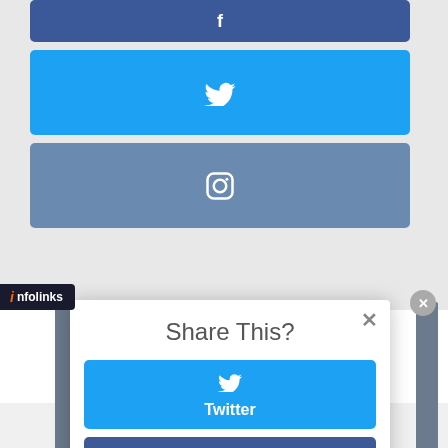[Figure (screenshot): Facebook social share button (dark blue) with 'f' icon at top]
[Figure (screenshot): Twitter social share button (light blue) with bird icon]
[Figure (screenshot): Instagram social share button (steel blue) with camera icon]
Share This?
[Figure (screenshot): Twitter share button in modal with bird icon and 'Twitter' label]
[Figure (screenshot): Facebook share button in modal with 'f' icon and 'Facebook' label]
[Figure (logo): infolinks logo/bar at bottom left]
[Figure (screenshot): Close X circle button at bottom right]